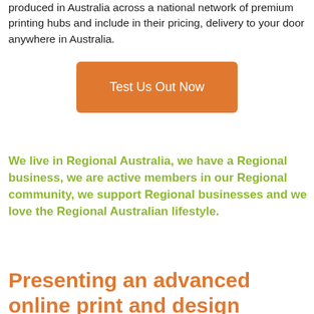produced in Australia across a national network of premium printing hubs and include in their pricing, delivery to your door anywhere in Australia.
[Figure (other): Orange rounded rectangle button with white text reading 'Test Us Out Now']
We live in Regional Australia, we have a Regional business, we are active members in our Regional community, we support Regional businesses and we love the Regional Australian lifestyle.
Presenting an advanced online print and design